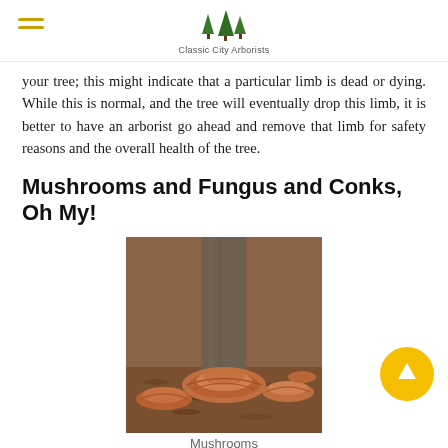Classic City Arborists
your tree; this might indicate that a particular limb is dead or dying. While this is normal, and the tree will eventually drop this limb, it is better to have an arborist go ahead and remove that limb for safety reasons and the overall health of the tree.
Mushrooms and Fungus and Conks, Oh My!
[Figure (photo): Photo of large shelf/bracket mushrooms growing at the base of a tree trunk, surrounded by mulch and leaf litter.]
Mushrooms
Another sign that your tree isn't as healthy as it should